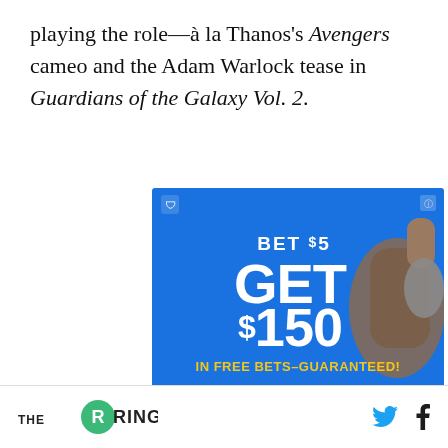playing the role—à la Thanos's Avengers cameo and the Adam Warlock tease in Guardians of the Galaxy Vol. 2.
[Figure (other): FanDuel advertisement: BET $5 GET $150 IN FREE BETS–GUARANTEED! with JOIN NOW button]
THE RINGER [logo] [Twitter icon] [Facebook icon]